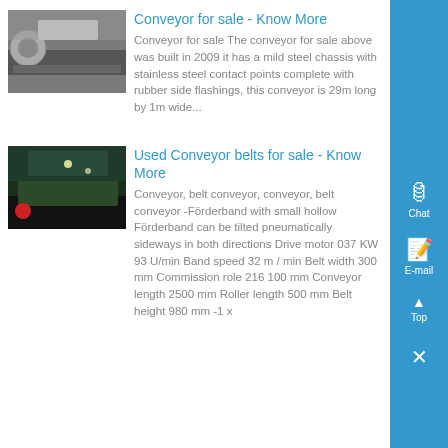Conveyor for sale - Know More
Conveyor for sale The conveyor for sale above was built in 2009 it has a mild steel chassis with stainless steel contact points complete with rubber side flashings, this conveyor is 29m long by 1m wide...
[Figure (photo): Industrial conveyor machinery photo]
Used Conveyor belts for sale - Know More
Conveyor, belt conveyor, conveyor, belt conveyor -Förderband with small hollow Förderband can be tilted pneumatically sideways in both directions Drive motor 037 KW 93 U/min Band speed 32 m / min Belt width 300 mm Commission role 216 100 mm Conveyor length 2500 mm Roller length 500 mm Belt height 980 mm -1 x
[Figure (photo): Industrial conveyor belt warehouse photo]